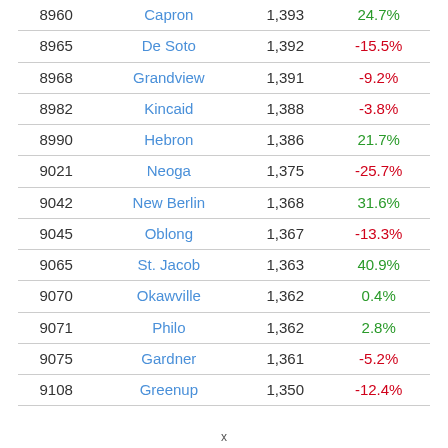| 8960 | Capron | 1,393 | 24.7% |
| 8965 | De Soto | 1,392 | -15.5% |
| 8968 | Grandview | 1,391 | -9.2% |
| 8982 | Kincaid | 1,388 | -3.8% |
| 8990 | Hebron | 1,386 | 21.7% |
| 9021 | Neoga | 1,375 | -25.7% |
| 9042 | New Berlin | 1,368 | 31.6% |
| 9045 | Oblong | 1,367 | -13.3% |
| 9065 | St. Jacob | 1,363 | 40.9% |
| 9070 | Okawville | 1,362 | 0.4% |
| 9071 | Philo | 1,362 | 2.8% |
| 9075 | Gardner | 1,361 | -5.2% |
| 9108 | Greenup | 1,350 | -12.4% |